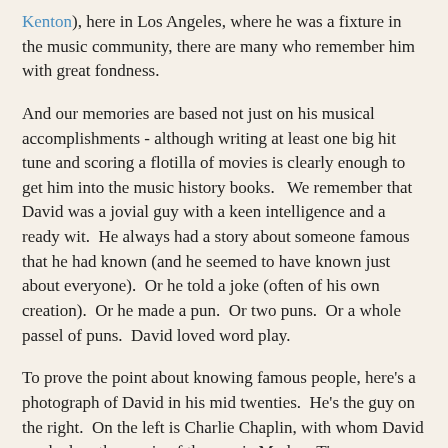Kenton), here in Los Angeles, where he was a fixture in the music community, there are many who remember him with great fondness.
And our memories are based not just on his musical accomplishments - although writing at least one big hit tune and scoring a flotilla of movies is clearly enough to get him into the music history books.   We remember that David was a jovial guy with a keen intelligence and a ready wit.  He always had a story about someone famous that he had known (and he seemed to have known just about everyone).  Or he told a joke (often of his own creation).  Or he made a pun.  Or two puns.  Or a whole passel of puns.  David loved word play.
To prove the point about knowing famous people, here's a photograph of David in his mid twenties.  He's the guy on the right.  On the left is Charlie Chaplin, with whom David worked on the music of the movie Modern Times.  Working for Chaplin was David's big break.  In the center are Mr. and Mrs. Arnold Schoenberg.  David studied with Schoenberg.  (David wasn't really all that tall.  Those